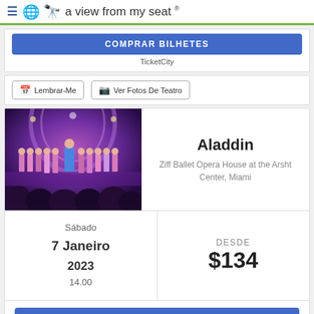a view from my seat ®
COMPRAR BILHETES
TicketCity
Lembrar-Me
Ver Fotos De Teatro
[Figure (photo): Stage performance scene with performers in colorful costumes under purple and pink lighting, with audience silhouettes in foreground]
Aladdin
Ziff Ballet Opera House at the Arsht Center, Miami
Sábado 7 Janeiro 2023 14.00
DESDE $134
COMPRAR BILHETES
TicketCity